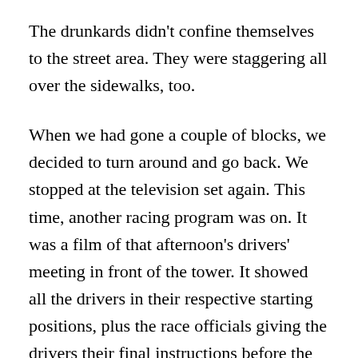The drunkards didn't confine themselves to the street area. They were staggering all over the sidewalks, too.
When we had gone a couple of blocks, we decided to turn around and go back. We stopped at the television set again. This time, another racing program was on. It was a film of that afternoon's drivers' meeting in front of the tower. It showed all the drivers in their respective starting positions, plus the race officials giving the drivers their final instructions before the race. The officials included Harlem Fengler, Sam Hanks, Tony Hulman, Paul Johnson, and a few others.